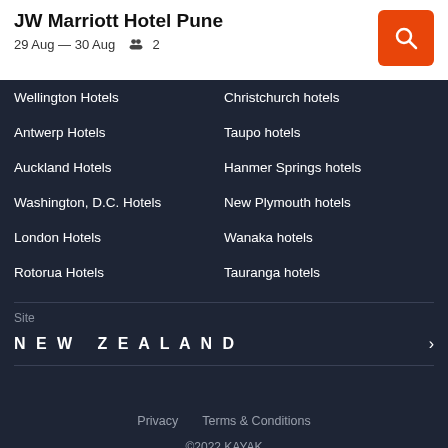JW Marriott Hotel Pune
29 Aug — 30 Aug  👥 2
Wellington Hotels
Christchurch hotels
Antwerp Hotels
Taupo hotels
Auckland Hotels
Hanmer Springs hotels
Washington, D.C. Hotels
New Plymouth hotels
London Hotels
Wanaka hotels
Rotorua Hotels
Tauranga hotels
Site
NEW ZEALAND
Privacy   Terms & Conditions
©2022 KAYAK